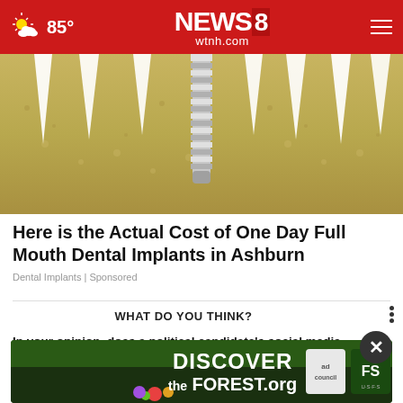85° NEWS8 wtnh.com
[Figure (photo): Dental implant cross-section illustration showing teeth roots embedded in jawbone with a metal screw implant in the center]
Here is the Actual Cost of One Day Full Mouth Dental Implants in Ashburn
Dental Implants | Sponsored
WHAT DO YOU THINK?
In your opinion, does a political candidate's social media presence have a significant impact on the overall success or lack of success in an election campaign?
[Figure (photo): DISCOVER the FOREST .org advertisement banner with ad council and US Forest Service logos]